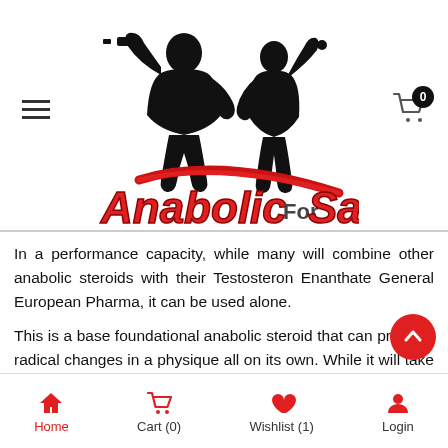[Figure (logo): AnabolicForSale.biz logo with silhouette of male and female bodybuilders lifting weights and a red swoosh, with stylized text 'AnabolicForSale.biz' in red and black]
In a performance capacity, while many will combine other anabolic steroids with their Testosteron Enanthate General European Pharma, it can be used alone.
This is a base foundational anabolic steroid that can promote radical changes in a physique all on its own. While it will take supraphysiological doses to obtain a true and notable transformation, thankfully the threshold for adverse effects remains very high. Equally important, while tremendously
Home  Cart (0)  Wishlist (1)  Login